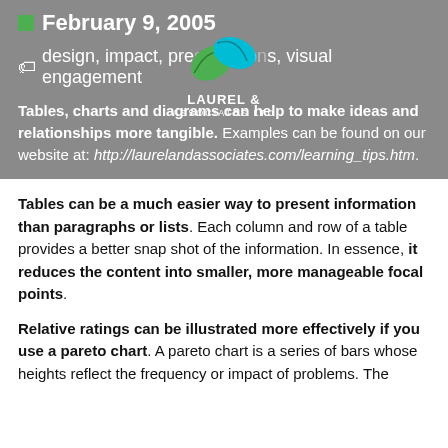February 9, 2005
[Figure (logo): Laurel & Associates Ltd logo with two overlapping leaf shapes in green and teal, with text LAUREL & ASSOCIATES LTD below]
design, impact, presentations, visual engagement
Tables, charts and diagrams can help to make ideas and relationships more tangible. Examples can be found on our website at: http://laurelandassociates.com/learning_tips.htm.
Tables can be a much easier way to present information than paragraphs or lists. Each column and row of a table provides a better snap shot of the information. In essence, it reduces the content into smaller, more manageable focal points.
Relative ratings can be illustrated more effectively if you use a pareto chart. A pareto chart is a series of bars whose heights reflect the frequency or impact of problems. The bars are arranged in descending order of height from left